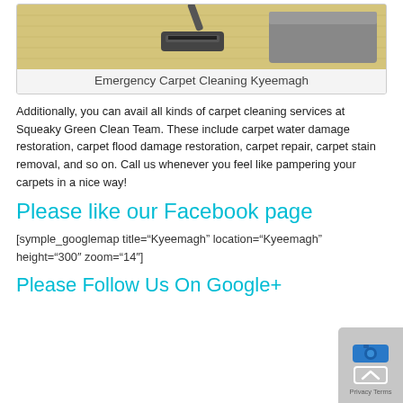[Figure (photo): Carpet cleaning machine being used on a light-colored carpet, with a grey couch visible in the background]
Emergency Carpet Cleaning Kyeemagh
Additionally, you can avail all kinds of carpet cleaning services at Squeaky Green Clean Team. These include carpet water damage restoration, carpet flood damage restoration, carpet repair, carpet stain removal, and so on. Call us whenever you feel like pampering your carpets in a nice way!
Please like our Facebook page
[symple_googlemap title="Kyeemagh" location="Kyeemagh" height="300" zoom="14"]
Please Follow Us On Google+